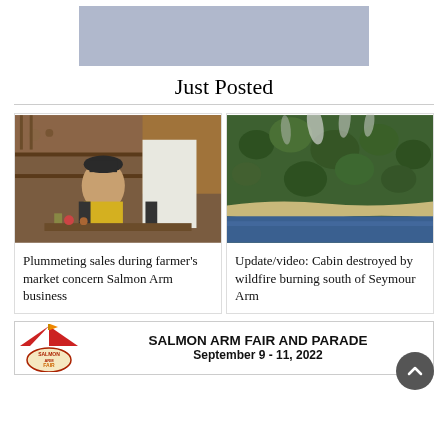[Figure (other): Gray advertisement banner placeholder at top]
Just Posted
[Figure (photo): Woman in black hat sitting at a market stall with shelves of goods behind her]
Plummeting sales during farmer's market concern Salmon Arm business
[Figure (photo): Aerial view of forest with smoke from wildfire near a shoreline]
Update/video: Cabin destroyed by wildfire burning south of Seymour Arm
[Figure (other): Salmon Arm Fair and Parade advertisement banner. September 9 - 11, 2022]